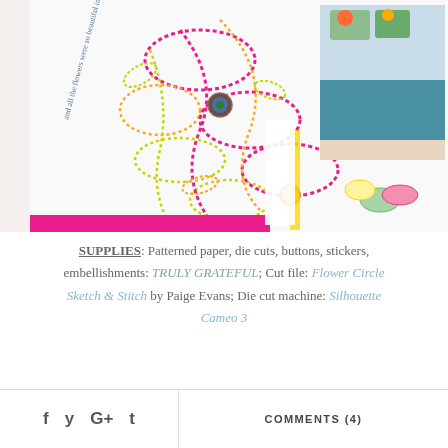[Figure (photo): Close-up photo of a colorful floral scrapbook layout featuring stitched flower outlines in pink, yellow, and teal on white background, with patterned paper, buttons, die cuts, and a photo collage on the right side. Handwritten-style text curves along the left side reading 'and all the flowers were so beautiful in bloom!']
SUPPLIES: Patterned paper, die cuts, buttons, stickers, embellishments: TRULY GRATEFUL; Cut file: Flower Circle Sketch & Stitch by Paige Evans; Die cut machine: Silhouette Cameo 3
f  y  G+  t   COMMENTS (4)